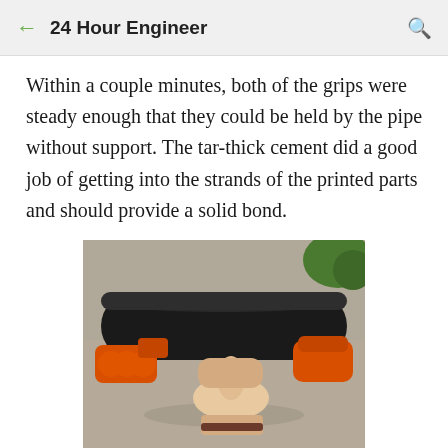← 24 Hour Engineer 🔍
Within a couple minutes, both of the grips were steady enough that they could be held by the pipe without support. The tar-thick cement did a good job of getting into the strands of the printed parts and should provide a solid bond.
[Figure (photo): A hand holding a black PVC pipe with two orange 3D-printed grips attached on either side, photographed outdoors on a concrete/gravel surface with greenery in the background.]
Pipe and handle come together...